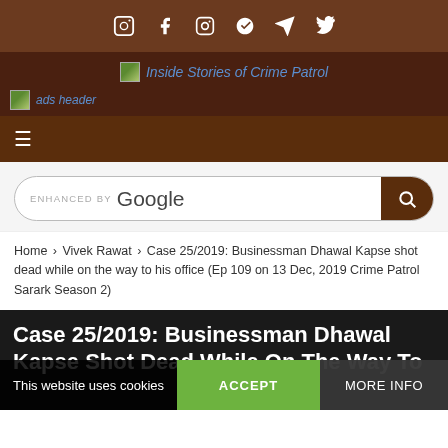Social icons bar: YouTube, Facebook, Instagram, Pinterest, Telegram, Twitter
[Figure (logo): Inside Stories of Crime Patrol site logo with broken image icon]
[Figure (other): ads header image (broken image icon)]
Hamburger menu navigation bar
ENHANCED BY Google (search box)
Home > Vivek Rawat > Case 25/2019: Businessman Dhawal Kapse shot dead while on the way to his office (Ep 109 on 13 Dec, 2019 Crime Patrol Sarark Season 2)
Case 25/2019: Businessman Dhawal Kapse Shot Dead While On The Way To
This website uses cookies
ACCEPT
MORE INFO